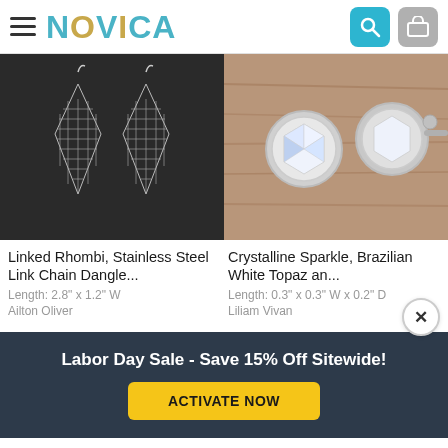NOVICA
[Figure (photo): Linked Rhombi stainless steel chainmail dangle earrings on dark textured background]
[Figure (photo): Crystalline Sparkle Brazilian White Topaz round stud earrings on wood background]
Linked Rhombi, Stainless Steel Link Chain Dangle...
Length: 2.8" x 1.2" W
Ailton Oliver
Crystalline Sparkle, Brazilian White Topaz an...
Length: 0.3" x 0.3" W x 0.2" D
Liliam Vivan
Labor Day Sale - Save 15% Off Sitewide!
ACTIVATE NOW